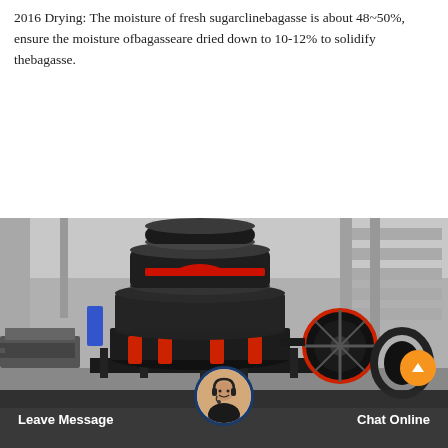2016 Drying: The moisture of fresh sugarclinebagasse is about 48~50%, ensure the moisture ofbagasseare dried down to 10-12% to solidify thebagasse.
[Figure (other): Orange 'Get Price' button]
[Figure (photo): Large industrial cone crusher machine, black with red accents, in a warehouse/factory setting.]
Leave Message   Chat Online